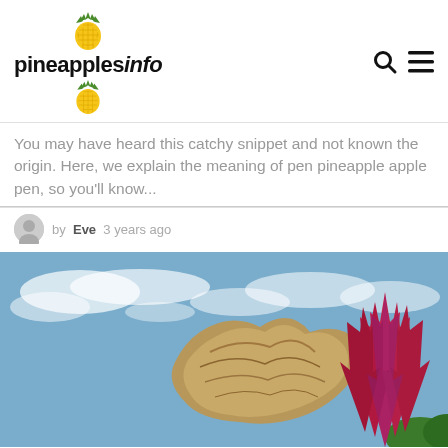pineapplesinfo
You may have heard this catchy snippet and not known the origin. Here, we explain the meaning of pen pineapple apple pen, so you'll know...
by Eve 3 years ago
[Figure (photo): Photo of driftwood sculpture and a red/purple bromeliad plant against a partly cloudy blue sky]